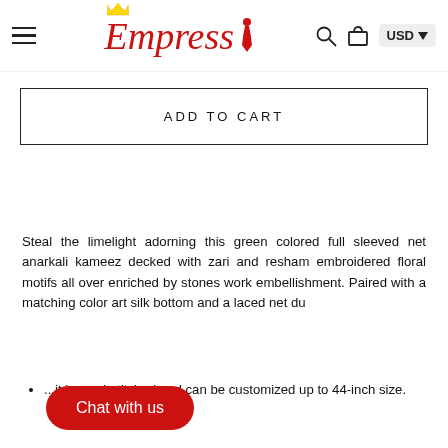Empress — USD navigation header
ADD TO CART
Steal the limelight adorning this green colored full sleeved net anarkali kameez decked with zari and resham embroidered floral motifs all over enriched by stones work embellishment. Paired with a matching color art silk bottom and a laced net du...
...it is semi-stitched and can be customized up to 44-inch size.
Chat with us